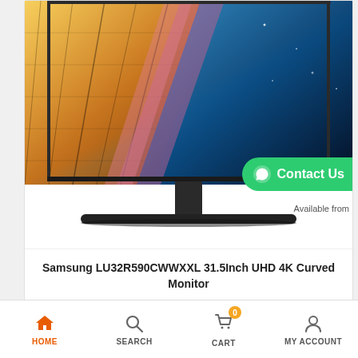[Figure (photo): Samsung curved monitor product image showing the monitor screen with a colorful abstract architectural image reflected, mounted on a V-shaped stand.]
Contact Us
Available from
Samsung LU32R590CWWXXL 31.5Inch UHD 4K Curved Monitor
₹32,426.00  ₹56,000.00
HOME  SEARCH  CART  MY ACCOUNT